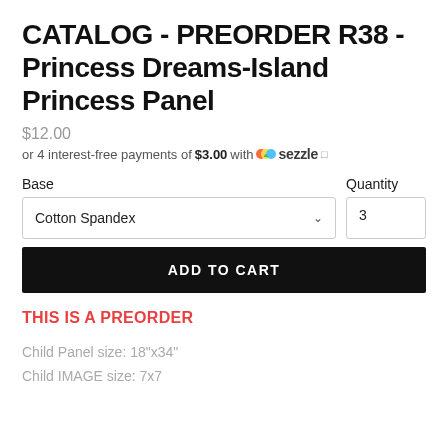CATALOG - PREORDER R38 - Princess Dreams-Island Princess Panel
$12.00
or 4 interest-free payments of $3.00 with Sezzle
Base
Cotton Spandex
Quantity
3
ADD TO CART
THIS IS A PREORDER
Child Panel size: 18"x34"
Child IMAGE size: 7x7